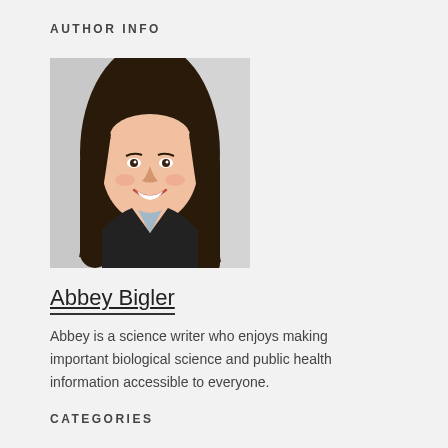AUTHOR INFO
[Figure (photo): Headshot photo of Abbey Bigler, a young woman with long brown hair, smiling, wearing a dark jacket, against a light gray background.]
Abbey Bigler
Abbey is a science writer who enjoys making important biological science and public health information accessible to everyone.
CATEGORIES